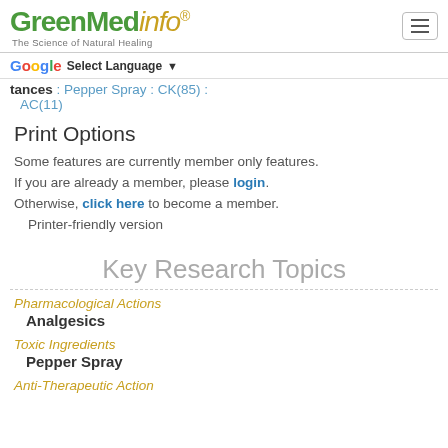GreenMedinfo - The Science of Natural Healing
tances : Pepper Spray : CK(85) : AC(11)
Print Options
Some features are currently member only features. If you are already a member, please login. Otherwise, click here to become a member. Printer-friendly version
Key Research Topics
Pharmacological Actions
Analgesics
Toxic Ingredients
Pepper Spray
Anti-Therapeutic Action